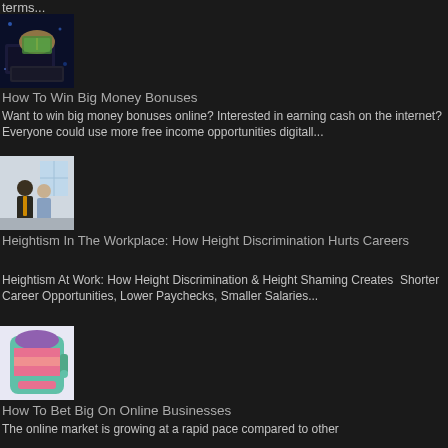terms...
[Figure (photo): Hand holding cash money with digital background]
How To Win Big Money Bonuses
Want to win big money bonuses online? Interested in earning cash on the internet? Everyone could use more free income opportunities digitall...
[Figure (photo): Two businessmen standing in office setting]
Heightism In The Workplace: How Height Discrimination Hurts Careers
Heightism At Work: How Height Discrimination & Height Shaming Creates  Shorter Career Opportunities, Lower Paychecks, Smaller Salaries...
[Figure (illustration): Slot machine illustration with colorful design]
How To Bet Big On Online Businesses
The online market is growing at a rapid pace compared to other